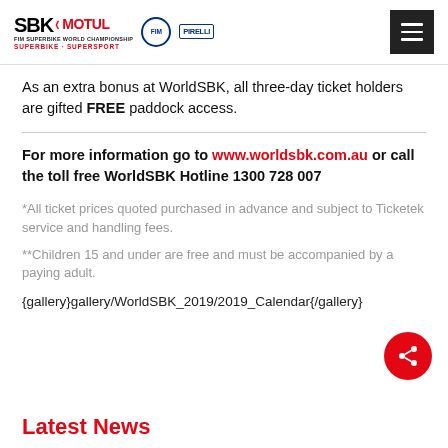SBK Motul FIM Superbike World Championship Superbike Supersport [navigation header with logos and menu button]
As an extra bonus at WorldSBK, all three-day ticket holders are gifted FREE paddock access.
For more information go to www.worldsbk.com.au or call the toll free WorldSBK Hotline 1300 728 007
*All ticket prices quoted purchased in advance and subject to Ticketek service and handling fees.
**Children 15 and under are free and must be accompanied by a paying adult.
{gallery}gallery/WorldSBK_2019/2019_Calendar{/gallery}
Latest News